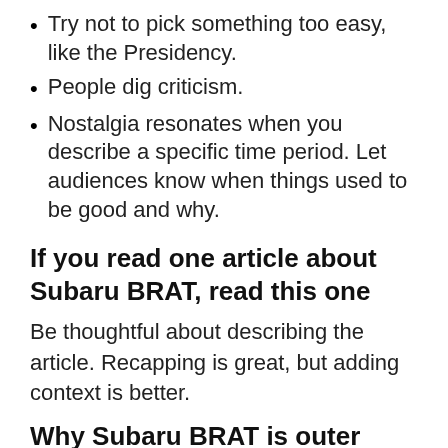Try not to pick something too easy, like the Presidency.
People dig criticism.
Nostalgia resonates when you describe a specific time period. Let audiences know when things used to be good and why.
If you read one article about Subaru BRAT, read this one
Be thoughtful about describing the article. Recapping is great, but adding context is better.
Why Subaru BRAT is outer